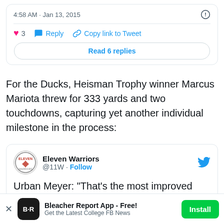[Figure (screenshot): Top of a Twitter/X embedded tweet showing timestamp '4:58 AM · Jan 13, 2015', like count of 3, Reply, Copy link to Tweet actions, and a 'Read 6 replies' button]
For the Ducks, Heisman Trophy winner Marcus Mariota threw for 333 yards and two touchdowns, capturing yet another individual milestone in the process:
[Figure (screenshot): Twitter/X embedded tweet from Eleven Warriors (@11W) with Follow button and beginning of tweet text: 'Urban Meyer: "That's the most improved']
[Figure (screenshot): App install banner: Bleacher Report App - Free! Get the Latest College FB News, with Install button]